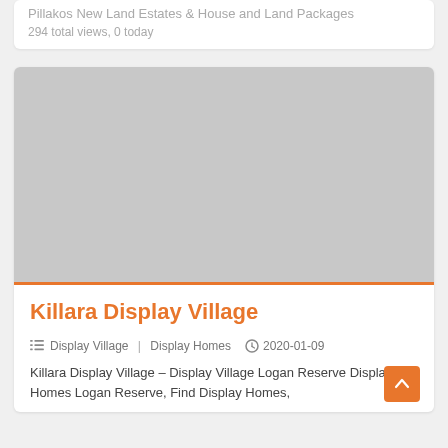Pillakos New Land Estates & House and Land Packages
294 total views, 0 today
[Figure (photo): Gray placeholder image for Killara Display Village listing]
Killara Display Village
Display Village | Display Homes  2020-01-09
Killara Display Village – Display Village Logan Reserve Display Homes Logan Reserve, Find Display Homes,